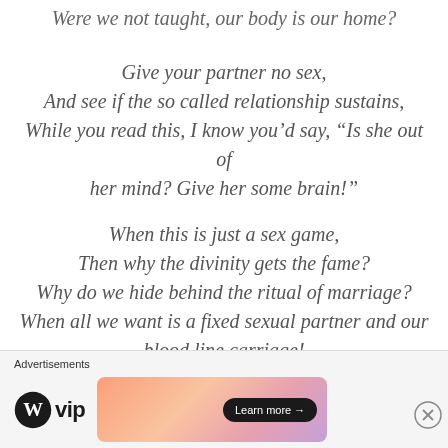Were we not taught, our body is our home?
Give your partner no sex,
And see if the so called relationship sustains,
While you read this, I know you’d say, “Is she out of her mind? Give her some brain!”
When this is just a sex game,
Then why the divinity gets the fame?
Why do we hide behind the ritual of marriage?
When all we want is a fixed sexual partner and our blood line carriage!
Advertisements